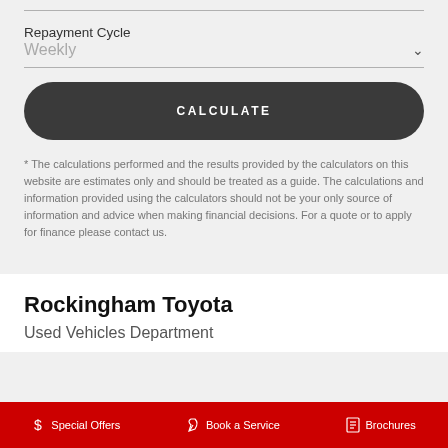Repayment Cycle
Weekly
CALCULATE
* The calculations performed and the results provided by the calculators on this website are estimates only and should be treated as a guide. The calculations and information provided using the calculators should not be your only source of information and advice when making financial decisions. For a quote or to apply for finance please contact us.
Rockingham Toyota
Used Vehicles Department
Special Offers   Book a Service   Brochures